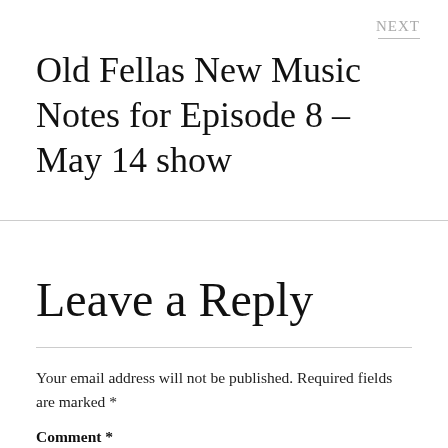NEXT
Old Fellas New Music Notes for Episode 8 – May 14 show
Leave a Reply
Your email address will not be published. Required fields are marked *
Comment *